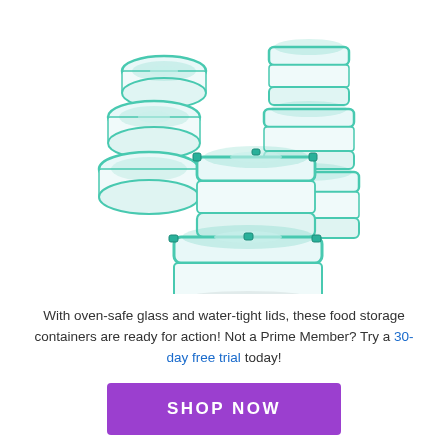[Figure (photo): Stack of glass food storage containers with teal/turquoise snap-on lids, including round and rectangular shapes of various sizes arranged in a pyramid-like display]
With oven-safe glass and water-tight lids, these food storage containers are ready for action! Not a Prime Member? Try a 30-day free trial today!
[Figure (other): Purple 'SHOP NOW' button]
From The Blog
[Figure (photo): Partial blog image showing a blue/teal colored background photo, partially cropped at bottom of page]